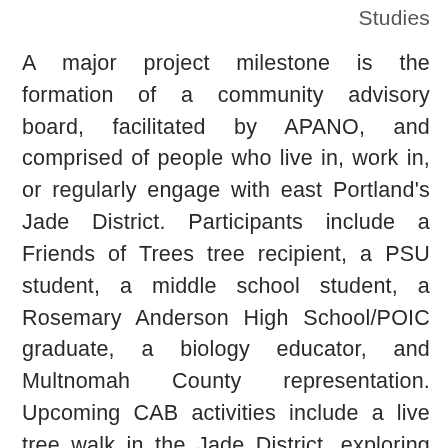Studies
A major project milestone is the formation of a community advisory board, facilitated by APANO, and comprised of people who live in, work in, or regularly engage with east Portland's Jade District. Participants include a Friends of Trees tree recipient, a PSU student, a middle school student, a Rosemary Anderson High School/POIC graduate, a biology educator, and Multnomah County representation. Upcoming CAB activities include a live tree walk in the Jade District, exploring topics such as infrastructure challenges to adding trees (e.g., with so many parking lots, where and how do we plant trees?) and how to address these challenges.